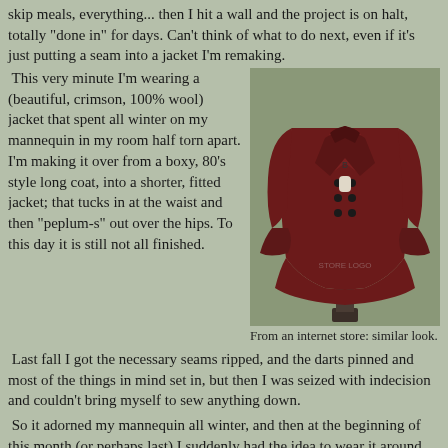skip meals, everything... then I hit a wall and the project is on halt, totally "done in" for days. Can't think of what to do next, even if it's just putting a seam into a jacket I'm remaking.
This very minute I'm wearing a (beautiful, crimson, 100% wool) jacket that spent all winter on my mannequin in my room half torn apart. I'm making it over from a boxy, 80's style long coat, into a shorter, fitted jacket; that tucks in at the waist and then "peplum-s" out over the hips. To this day it is still not all finished.
[Figure (photo): A crimson/dark red double-breasted fitted jacket with flared peplum bottom displayed on a dress form/mannequin against a white background. The jacket has large buttons and structured shoulders.]
From an internet store: similar look.
Last fall I got the necessary seams ripped, and the darts pinned and most of the things in mind set in, but then I was seized with indecision and couldn't bring myself to sew anything down.
So it adorned my mannequin all winter, and then at the beginning of this month (or perhaps last) I suddenly had the idea to wear it around the house in it's pinned up state. I